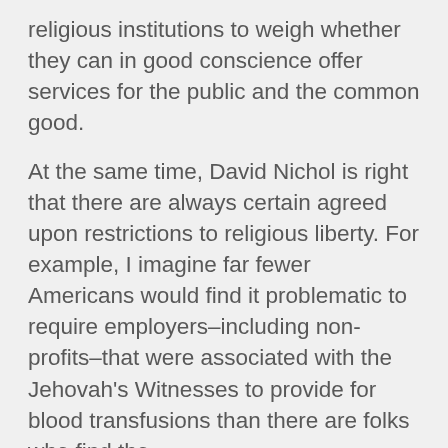religious institutions to weigh whether they can in good conscience offer services for the public and the common good.
At the same time, David Nichol is right that there are always certain agreed upon restrictions to religious liberty. For example, I imagine far fewer Americans would find it problematic to require employers–including non-profits–that were associated with the Jehovah's Witnesses to provide for blood transfusions than there are folks who find the contraception/sterilization/abortion issue problematic. A lot more could be said about this, but where I really have the question is in another arena.
The public conversation has focused on who pays for specific treatments etc.…, and whether